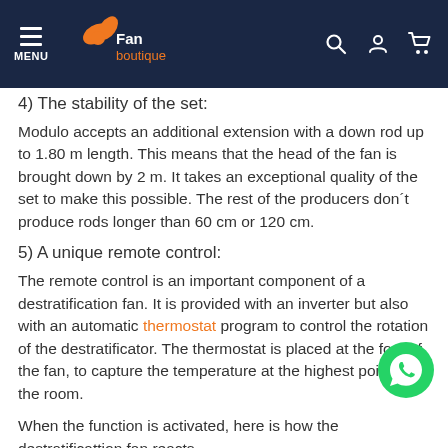MENU | Fan boutique [logo]
4) The stability of the set:
Modulo accepts an additional extension with a down rod up to 1.80 m length. This means that the head of the fan is brought down by 2 m. It takes an exceptional quality of the set to make this possible. The rest of the producers don´t produce rods longer than 60 cm or 120 cm.
5) A unique remote control:
The remote control is an important component of a destratification fan. It is provided with an inverter but also with an automatic thermostat program to control the rotation of the destratificator. The thermostat is placed at the foot of the fan, to capture the temperature at the highest point of the room.
When the function is activated, here is how the destratificattion fan reacts
Less than 19 °– speed 0 no operation